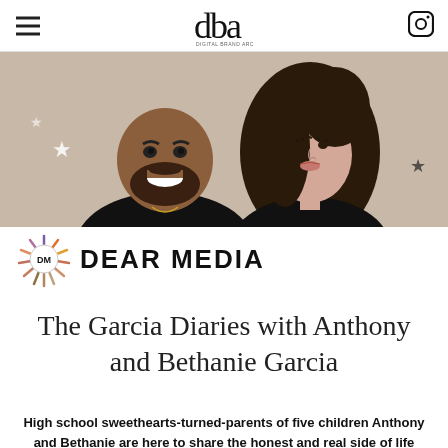dba — Digital Brand Architects (logo) | hamburger menu | Instagram icon
[Figure (illustration): Illustrated portrait of two people: a smiling man with a beard wearing a black top (left) and a woman with long dark hair wearing a black off-shoulder top (right), on a beige/tan background with decorative stars]
[Figure (logo): Dear Media logo: circular sunburst/ray logo mark with DM initials in center, followed by DEAR MEDIA text in bold black capitals]
The Garcia Diaries with Anthony and Bethanie Garcia
High school sweethearts-turned-parents of five children Anthony and Bethanie are here to share the honest and real side of life